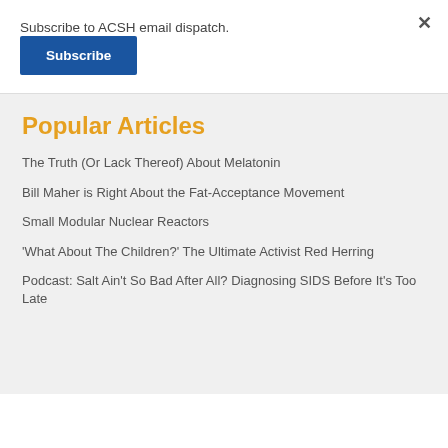Subscribe to ACSH email dispatch.
Subscribe
Popular Articles
The Truth (Or Lack Thereof) About Melatonin
Bill Maher is Right About the Fat-Acceptance Movement
Small Modular Nuclear Reactors
'What About The Children?' The Ultimate Activist Red Herring
Podcast: Salt Ain't So Bad After All? Diagnosing SIDS Before It's Too Late